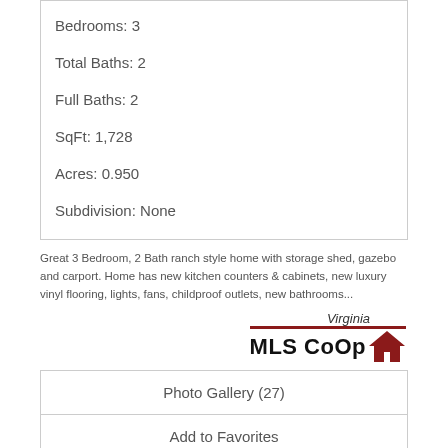Bedrooms: 3
Total Baths: 2
Full Baths: 2
SqFt: 1,728
Acres: 0.950
Subdivision: None
Great 3 Bedroom, 2 Bath ranch style home with storage shed, gazebo and carport. Home has new kitchen counters & cabinets, new luxury vinyl flooring, lights, fans, childproof outlets, new bathrooms...
[Figure (logo): Virginia MLS CoOp logo with house icon and red underline]
Photo Gallery (27)
Add to Favorites
View Details
[Figure (photo): Exterior photo of ranch style home with trees]